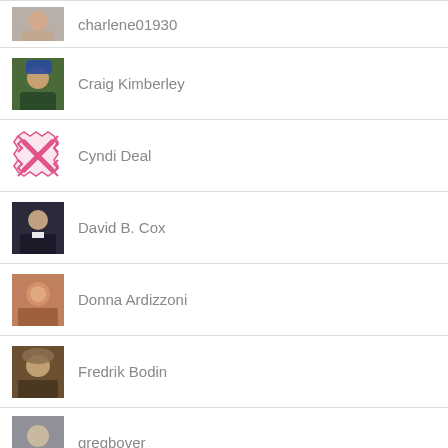charlene01930
Craig Kimberley
Cyndi Deal
David B. Cox
Donna Ardizzoni
Fredrik Bodin
gregbover